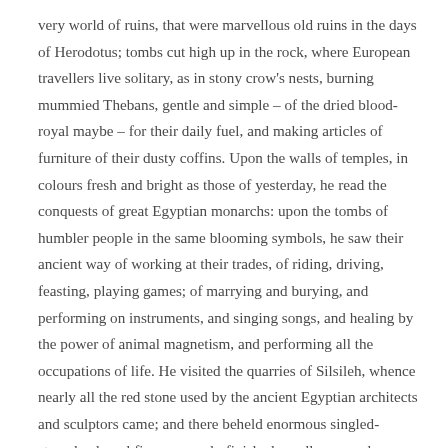very world of ruins, that were marvellous old ruins in the days of Herodotus; tombs cut high up in the rock, where European travellers live solitary, as in stony crow's nests, burning mummied Thebans, gentle and simple – of the dried blood-royal maybe – for their daily fuel, and making articles of furniture of their dusty coffins. Upon the walls of temples, in colours fresh and bright as those of yesterday, he read the conquests of great Egyptian monarchs: upon the tombs of humbler people in the same blooming symbols, he saw their ancient way of working at their trades, of riding, driving, feasting, playing games; of marrying and burying, and performing on instruments, and singing songs, and healing by the power of animal magnetism, and performing all the occupations of life. He visited the quarries of Silsileh, whence nearly all the red stone used by the ancient Egyptian architects and sculptors came; and there beheld enormous singled-stoned colossal figures, nearly finished – redly snowed up, as it were, and trying hard to break out – waiting for the finishing touches, never to be given by the mummied hands of thousands of years ago. In front of the temple of